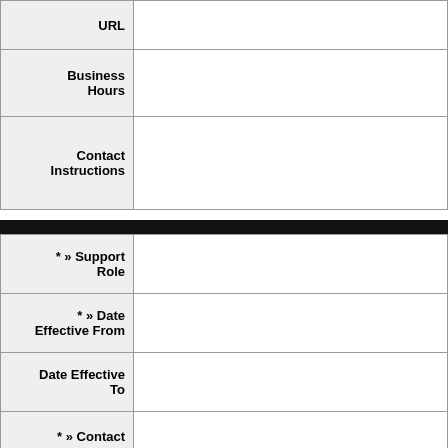| URL |  |
| Business Hours |  |
| Contact Instructions |  |
| * » Support Role |  |
| * » Date Effective From |  |
| Date Effective To |  |
| * » Contact |  |
| * Contact Instructions |  |